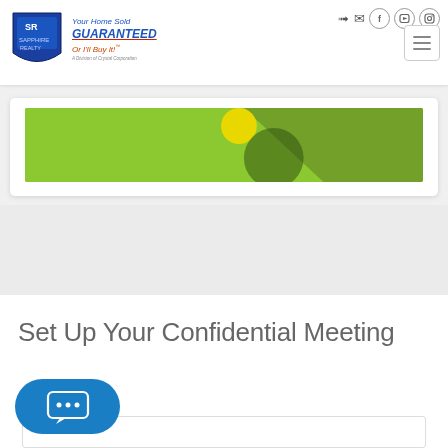[Figure (logo): Sapphire Realty logo with blue shield icon and tagline 'Your Home Sold GUARANTEED Or I'll Buy It!']
[Figure (screenshot): Navigation header with social media icons (login arrow, email, Facebook, YouTube, Instagram) and hamburger menu button]
[Figure (photo): Green banner image with yellow circular element and dark diagonal stripe]
Set Up Your Confidential Meeting
[Figure (illustration): Blue rounded chat button with speech bubble icon containing ellipsis dots]